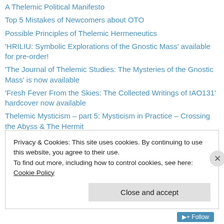A Thelemic Political Manifesto
Top 5 Mistakes of Newcomers about OTO
Possible Principles of Thelemic Hermeneutics
'HRILIU: Symbolic Explorations of the Gnostic Mass' available for pre-order!
'The Journal of Thelemic Studies: The Mysteries of the Gnostic Mass' is now available
'Fresh Fever From the Skies: The Collected Writings of IAO131' hardcover now available
Thelemic Mysticism – part 5: Mysticism in Practice – Crossing the Abyss & The Hermit
The Symbolic Dimensions of the Gnostic Mass
Fundamentals of Initiation in Thelema
Privacy & Cookies: This site uses cookies. By continuing to use this website, you agree to their use. To find out more, including how to control cookies, see here: Cookie Policy
Close and accept